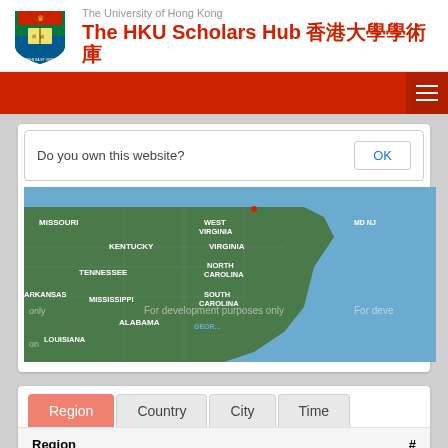[Figure (logo): University of Hong Kong crest/shield logo]
The HKU Scholars Hub 香港大學學術庫
[Figure (screenshot): Map screenshot showing southeastern US states: Missouri, West Virginia, Kentucky, Virginia, Tennessee, North Carolina, Arkansas, South Carolina, Mississippi, Alabama, Georgia, Louisiana, with ocean to the east. Overlay text reads 'For development purposes only'.]
| Region | # |
| --- | --- |
| NA - North America | 15 |